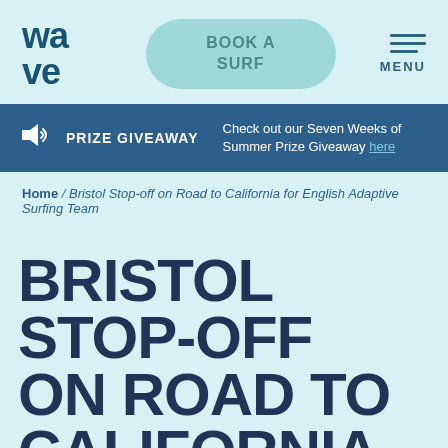[Figure (logo): Wave surfing brand logo in dark blue text showing 'wa' on top and 've' below]
BOOK A SURF
MENU
PRIZE GIVEAWAY Check out our Seven Weeks of Summer Prize Giveaway here
Home / Bristol Stop-off on Road to California for English Adaptive Surfing Team
BRISTOL STOP-OFF ON ROAD TO CALIFORNIA FOR